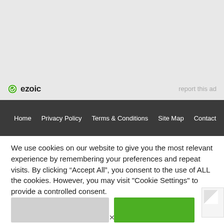[Figure (other): Gray advertisement placeholder area with Ezoic logo and 'report this ad' text]
Home   Privacy Policy   Terms & Conditions   Site Map   Contact
We use cookies on our website to give you the most relevant experience by remembering your preferences and repeat visits. By clicking “Accept All”, you consent to the use of ALL the cookies. However, you may visit "Cookie Settings" to provide a controlled consent.